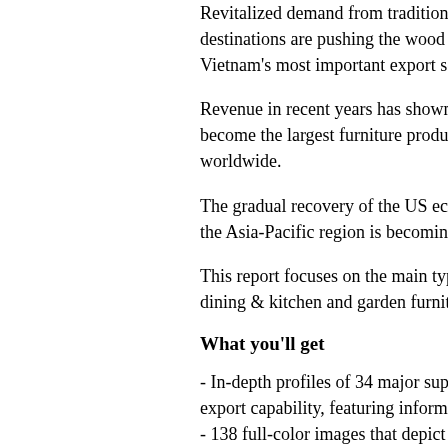Revitalized demand from traditional markets and growing popularity in new overseas destinations are pushing the wood and wicker furniture industry to become one of Vietnam's most important export sectors.
Revenue in recent years has shown remarkable growth, showing that the country has become the largest furniture producer in Southeast Asia and one of the five biggest worldwide.
The gradual recovery of the US economy is the key driver of expansion. In addition, the Asia-Pacific region is becoming a secondary market.
This report focuses on the main types of wood furniture: living room, bedroom, dining & kitchen and garden furniture.
What you'll get
- In-depth profiles of 34 major suppliers with a focus on strategy, manufacturing and export capability, featuring information is not available anywhere else
- 138 full-color images that depict popular export products with product descriptions, prices, minimum orders and more
- Verified supplier contact details of an additional suppliers: telephone numbers, websites and key products
- Supplier information in tabular format to help comparison
- Results of the custom-designed supplier survey from the past 12 months
- An extensive overview of the industry discussed in this report
- An in-depth examination of the supplier base